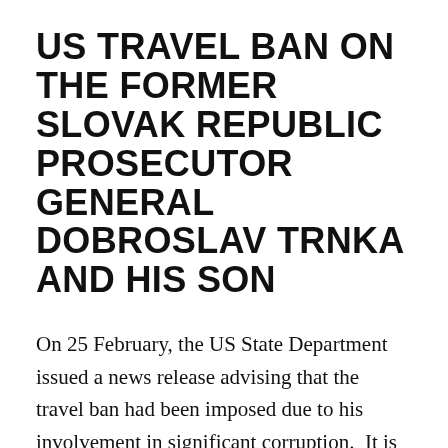US TRAVEL BAN ON THE FORMER SLOVAK REPUBLIC PROSECUTOR GENERAL DOBROSLAV TRNKA AND HIS SON
On 25 February, the US State Department issued a news release advising that the travel ban had been imposed due to his involvement in significant corruption.  It is said that in his official capacity as the Prosecutor General of Slovakia, he was involved in corrupt acts that undermined rule of law and the Slovak public's faith in their government's democratic institutions, official conduct, and li...